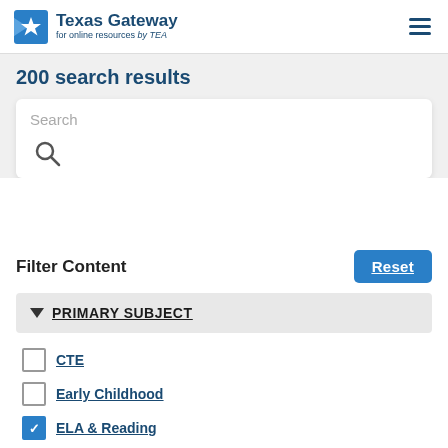[Figure (logo): Texas Gateway for online resources by TEA logo with blue star icon]
200 search results
Search (search box with magnifying glass icon)
Filter Content
PRIMARY SUBJECT
CTE (unchecked)
Early Childhood (unchecked)
ELA & Reading (checked)
ELL Support (checked)
Fine Arts (checked, partially visible)